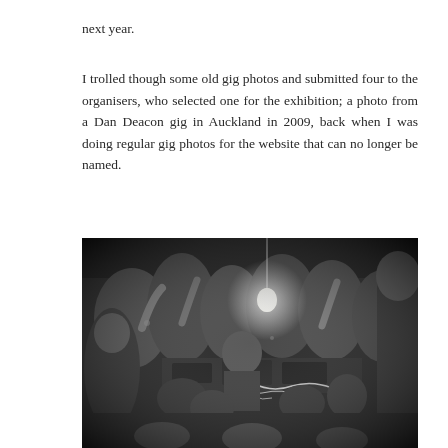next year.
I trolled though some old gig photos and submitted four to the organisers, who selected one for the exhibition; a photo from a Dan Deacon gig in Auckland in 2009, back when I was doing regular gig photos for the website that can no longer be named.
[Figure (photo): Black and white photograph of a crowded concert/gig scene. A performer (Dan Deacon) is visible at a table covered in music equipment and cables, surrounded by an energetic crowd. A bare light bulb hangs overhead. The scene is chaotic and energetic, with people raising their fists and cheering.]